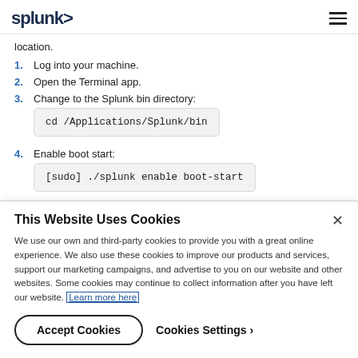splunk>
location.
1. Log into your machine.
2. Open the Terminal app.
3. Change to the Splunk bin directory:
cd /Applications/Splunk/bin
4. Enable boot start:
[sudo] ./splunk enable boot-start
This Website Uses Cookies
We use our own and third-party cookies to provide you with a great online experience. We also use these cookies to improve our products and services, support our marketing campaigns, and advertise to you on our website and other websites. Some cookies may continue to collect information after you have left our website. Learn more here
Accept Cookies   Cookies Settings ›